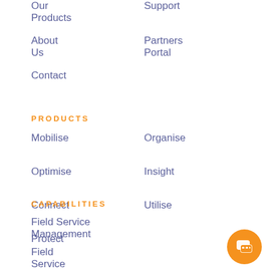Our Products
Support
About Us
Partners Portal
Contact
PRODUCTS
Mobilise
Organise
Optimise
Insight
Connect
Utilise
Protect
CAPABILITIES
Field Service Management
Field Service Dashboards
Mobile Workforce Management